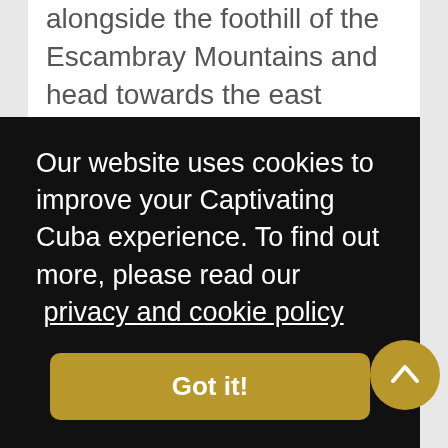alongside the foothill of the Escambray Mountains and head towards the east known locally as 'Oriente'.
Along with coffee stops, lunch will be taken at a local restaurant along the way before arriving at the picturesque small city of Bayamo. Known locally as 'La Heroica' due to its long history of revolutionary battles against the Spanish in the 19th Century and
Our website uses cookies to improve your Captivating Cuba experience. To find out more, please read our privacy and cookie policy
Got it!
Father of Cuba' Carlos Manuel de